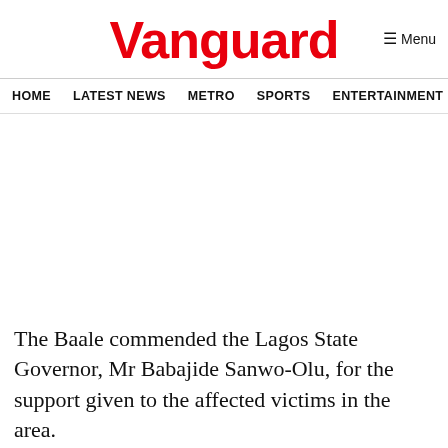Vanguard
HOME  LATEST NEWS  METRO  SPORTS  ENTERTAINMENT  VIDEOS
[Figure (other): Advertisement / blank space]
The Baale commended the Lagos State Governor, Mr Babajide Sanwo-Olu, for the support given to the affected victims in the area.
He urged the state government to send a fact